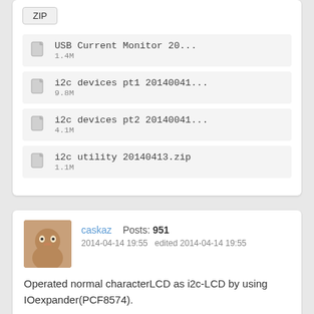ZIP
USB Current Monitor 20...  1.4M
i2c devices pt1 20140041...  9.8M
i2c devices pt2 20140041...  4.1M
i2c utility 20140413.zip  1.1M
caskaz  Posts: 951
2014-04-14 19:55  edited 2014-04-14 19:55
Operated normal characterLCD as i2c-LCD by using IOexpander(PCF8574).